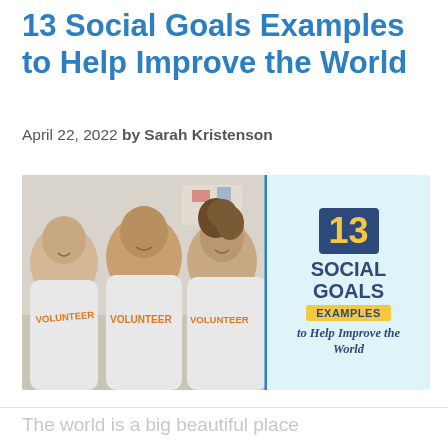13 Social Goals Examples to Help Improve the World
April 22, 2022 by Sarah Kristenson
[Figure (infographic): Left half shows a photo of three people wearing 'VOLUNTEER' t-shirts smiling. Right half on light blue background shows infographic text: '13' in yellow on dark blue box, 'SOCIAL GOALS' in dark blue bold, 'EXAMPLES' in yellow box, 'to Help Improve the World' in dark blue italic script.]
The world is a big beautiful place